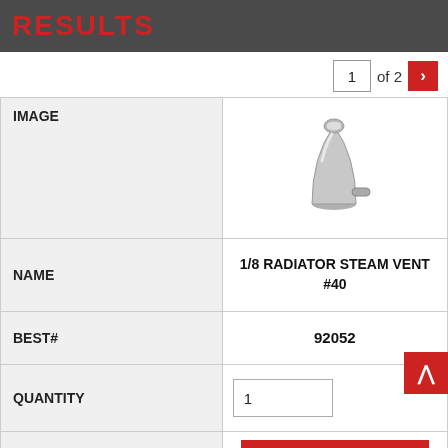RESULTS
1 of 2
|  |  |
| --- | --- |
| IMAGE | [product image: steam vent] |
| NAME | 1/8 RADIATOR STEAM VENT #40 |
| BEST# | 92052 |
| QUANTITY | 1 |
|  | Login to Buy |
| IMAGE | [product image: brown fitting] |